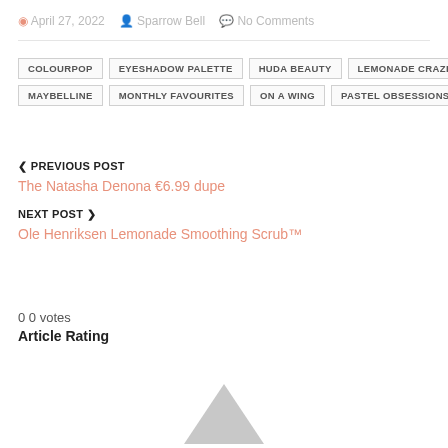April 27, 2022  Sparrow Bell  No Comments
COLOURPOP
EYESHADOW PALETTE
HUDA BEAUTY
LEMONADE CRAZE
MAYBELLINE
MONTHLY FAVOURITES
ON A WING
PASTEL OBSESSIONS
PREVIOUS POST
The Natasha Denona €6.99 dupe
NEXT POST
Ole Henriksen Lemonade Smoothing Scrub™
0 0 votes
Article Rating